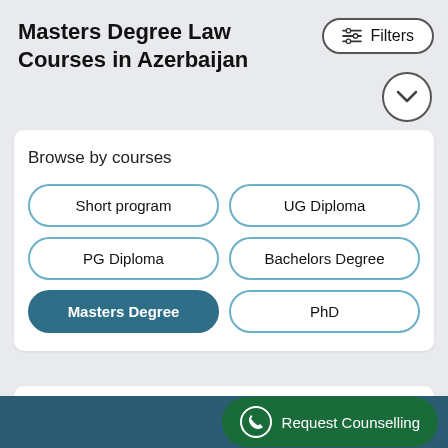Masters Degree Law Courses in Azerbaijan
[Figure (screenshot): Filters button with sliders icon in top right corner]
[Figure (screenshot): Down chevron button (circle with down arrow)]
Browse by courses
Short program
UG Diploma
PG Diploma
Bachelors Degree
Masters Degree
PhD
No data Found
Request Counselling